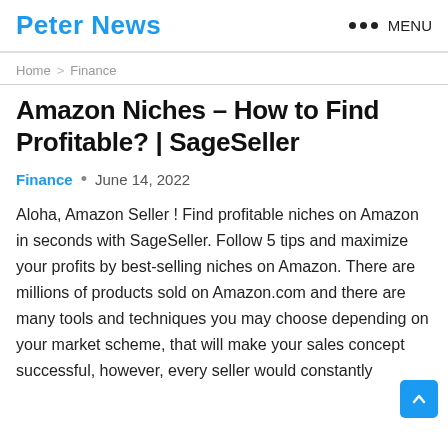Peter News   ••• MENU
Home > Finance
Amazon Niches – How to Find Profitable? | SageSeller
Finance · June 14, 2022
Aloha, Amazon Seller ! Find profitable niches on Amazon in seconds with SageSeller. Follow 5 tips and maximize your profits by best-selling niches on Amazon. There are millions of products sold on Amazon.com and there are many tools and techniques you may choose depending on your market scheme, that will make your sales concept successful, however, every seller would constantly